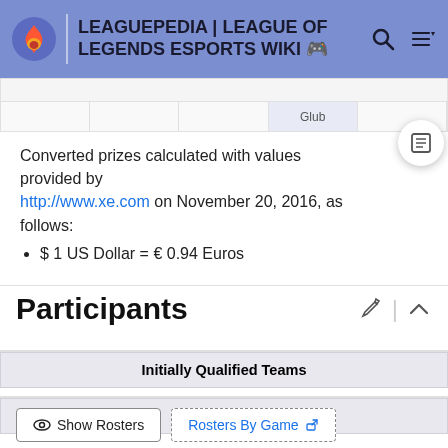LEAGUEPEDIA | LEAGUE OF LEGENDS ESPORTS WIKI
Converted prizes calculated with values provided by http://www.xe.com on November 20, 2016, as follows:
$ 1 US Dollar = € 0.94 Euros
Participants
| Initially Qualified Teams |
| --- |
| Participants |
| --- |
Show Rosters | Rosters By Game